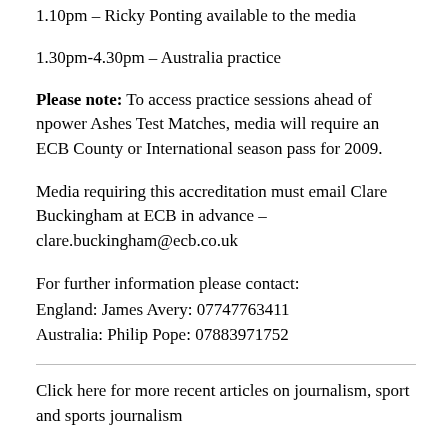1.10pm – Ricky Ponting available to the media
1.30pm-4.30pm – Australia practice
Please note: To access practice sessions ahead of npower Ashes Test Matches, media will require an ECB County or International season pass for 2009.
Media requiring this accreditation must email Clare Buckingham at ECB in advance – clare.buckingham@ecb.co.uk
For further information please contact:
England: James Avery: 07747763411
Australia: Philip Pope: 07883971752
Click here for more recent articles on journalism, sport and sports journalism